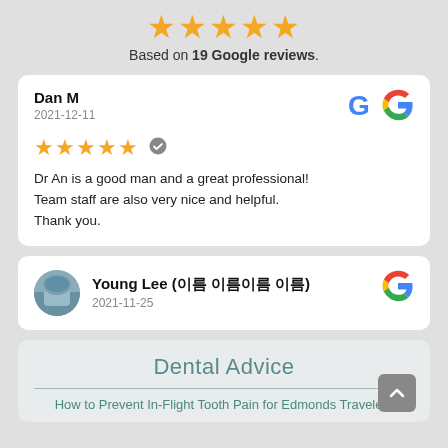★★★★★
Based on 19 Google reviews.
Dan M
2021-12-11
★★★★★ ✓
Dr An is a good man and a great professional! Team staff are also very nice and helpful. Thank you.
Young Lee (이름이름이름이름이름)
2021-11-25
Dental Advice
How to Prevent In-Flight Tooth Pain for Edmonds Travelers